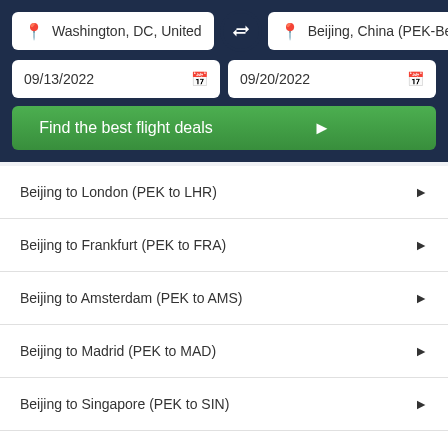Washington, DC, United
Beijing, China (PEK-Bei)
09/13/2022
09/20/2022
Find the best flight deals
Beijing to London (PEK to LHR)
Beijing to Frankfurt (PEK to FRA)
Beijing to Amsterdam (PEK to AMS)
Beijing to Madrid (PEK to MAD)
Beijing to Singapore (PEK to SIN)
Beijing to Bangkok (PEK to BKK)